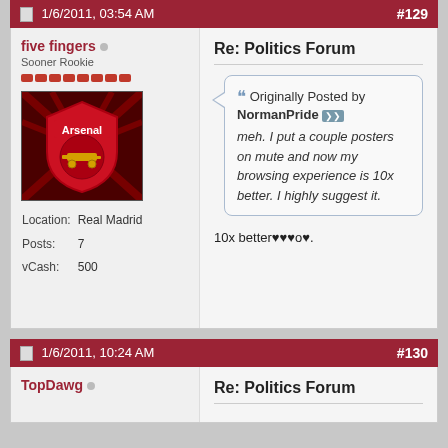1/6/2011, 03:54 AM #129
five fingers (online status)
Sooner Rookie
[Figure (photo): Arsenal football club crest avatar image]
Location: Real Madrid
Posts: 7
vCash: 500
Re: Politics Forum
Originally Posted by NormanPride
meh. I put a couple posters on mute and now my browsing experience is 10x better. I highly suggest it.
10x better♥♥♥o♥.
1/6/2011, 10:24 AM #130
TopDawg
Re: Politics Forum